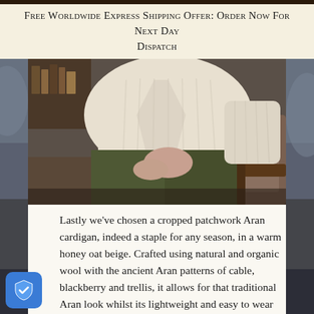Free Worldwide Express Shipping Offer: Order Now For Next Day Dispatch
[Figure (photo): Person wearing a cream/ivory cable-knit Aran cardigan seated in a wooden armchair, wearing olive/dark green trousers, hands resting on knees, indoor setting with bookshelf visible in background.]
Lastly we’ve chosen a cropped patchwork Aran cardigan, indeed a staple for any season, in a warm honey oat beige. Crafted using natural and organic wool with the ancient Aran patterns of cable, blackberry and trellis, it allows for that traditional Aran look whilst its lightweight and easy to wear style, also make it the perfect accessory for almost any summer’s outfit.